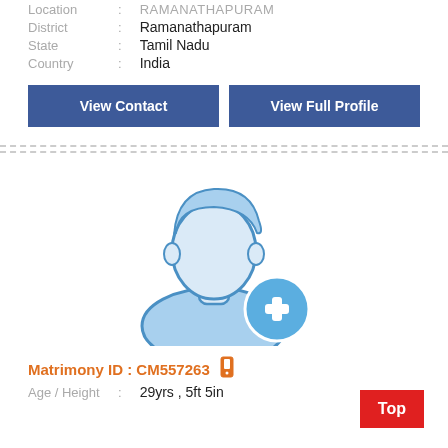Location : RAMANATHAPURAM
District : Ramanathapuram
State : Tamil Nadu
Country : India
View Contact
View Full Profile
[Figure (illustration): Placeholder male profile avatar with a blue plus icon in the bottom right corner]
Matrimony ID : CM557263
Age / Height : 29yrs , 5ft 5in